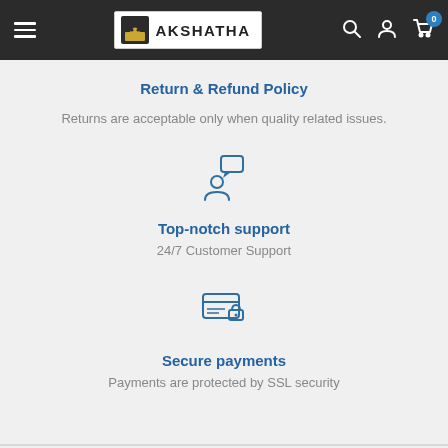AKSHATHA — navigation header with hamburger menu, logo, search, account, and cart icons
Return & Refund Policy
Returns are acceptable only when quality related issues.
[Figure (illustration): Icon of a person with a speech/chat bubble above, representing customer support]
Top-notch support
24/7 Customer Support
[Figure (illustration): Icon of a credit card with a padlock, representing secure payments]
Secure payments
Payments are protected by SSL security